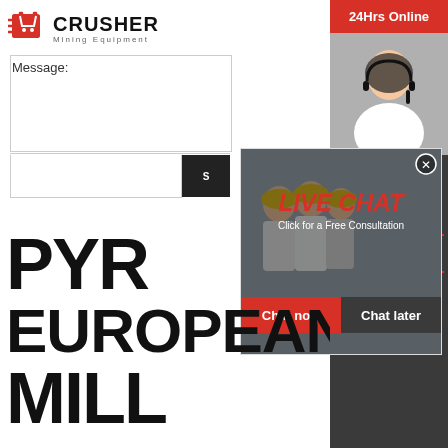[Figure (logo): CRUSHER Mining Equipment logo with shopping bag icon and bold text]
Message:
[Figure (screenshot): Live chat popup overlay with workers in hard hats on left, customer service woman on right. Text: LIVE CHAT, Click for a Free Consultation, Chat now, Chat later buttons. Close X button.]
PYROPHYLLITE EUROPEAN MILL
[Figure (infographic): Right sidebar: 24Hrs Online (red), customer service woman photo, Need questions & suggestion?, Chat Now button, Enquiry, limingjlmofen@sina.com]